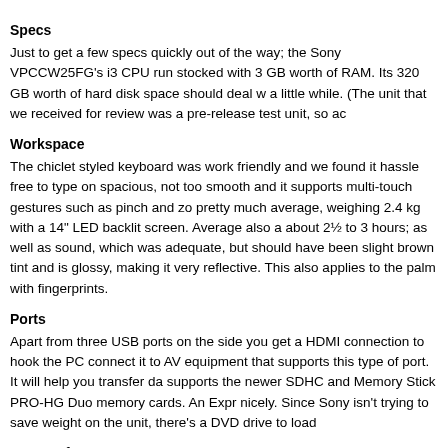Specs
Just to get a few specs quickly out of the way; the Sony VPCCW25FG's i3 CPU run stocked with 3 GB worth of RAM. Its 320 GB worth of hard disk space should deal w a little while. (The unit that we received for review was a pre-release test unit, so ac
Workspace
The chiclet styled keyboard was work friendly and we found it hassle free to type on spacious, not too smooth and it supports multi-touch gestures such as pinch and zo pretty much average, weighing 2.4 kg with a 14" LED backlit screen. Average also a about 2½ to 3 hours; as well as sound, which was adequate, but should have been slight brown tint and is glossy, making it very reflective. This also applies to the palm with fingerprints.
Ports
Apart from three USB ports on the side you get a HDMI connection to hook the PC connect it to AV equipment that supports this type of port. It will help you transfer da supports the newer SDHC and Memory Stick PRO-HG Duo memory cards. An Expr nicely. Since Sony isn't trying to save weight on the unit, there's a DVD drive to load
VAIO Software
Above the keyboard you'll find three shortcut buttons- one for VAIO Assist, one to tu you to VAIO's Media Gallery. Depending on how much you like the included VAIO se handy or merely a waste of a potentially useful button.